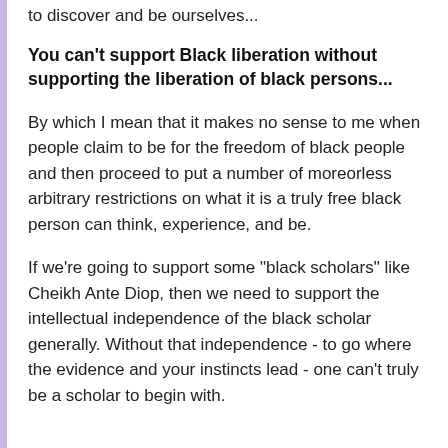to discover and be ourselves...
You can't support Black liberation without supporting the liberation of black persons...
By which I mean that it makes no sense to me when people claim to be for the freedom of black people and then proceed to put a number of moreorless arbitrary restrictions on what it is a truly free black person can think, experience, and be.
If we're going to support some "black scholars" like Cheikh Ante Diop, then we need to support the intellectual independence of the black scholar generally. Without that independence - to go where the evidence and your instincts lead - one can't truly be a scholar to begin with.